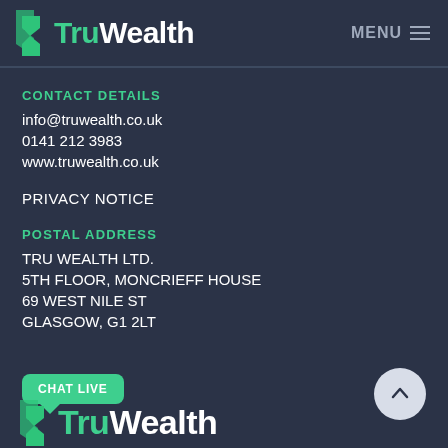[Figure (logo): TruWealth logo with green arrow icon and white/green text, MENU button top right]
CONTACT DETAILS
info@truwealth.co.uk
0141 212 3983
www.truwealth.co.uk
PRIVACY NOTICE
POSTAL ADDRESS
TRU WEALTH LTD.
5TH FLOOR, MONCRIEFF HOUSE
69 WEST NILE ST
GLASGOW, G1 2LT
[Figure (logo): Chat Live button (teal) and TruWealth bottom logo with scroll-to-top button]